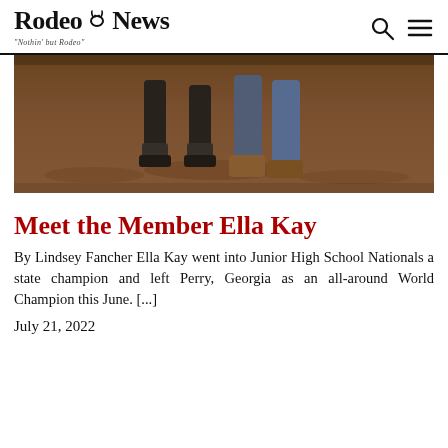Rodeo News — "Nothin' but Rodeo"
[Figure (photo): Close-up photo of horse hooves and a person's boots/legs on dirt ground at a rodeo arena]
Meet the Member Ella Kay
By Lindsey Fancher Ella Kay went into Junior High School Nationals a state champion and left Perry, Georgia as an all-around World Champion this June. [...]
July 21, 2022